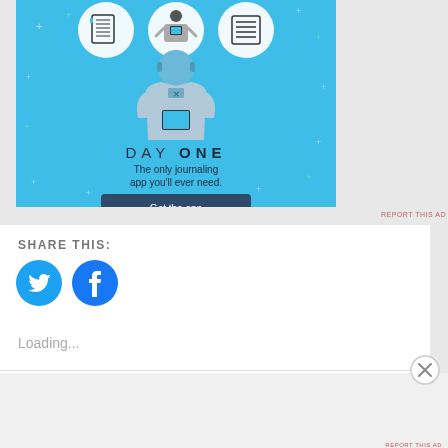[Figure (illustration): Day One journaling app advertisement banner with light blue background, illustrated person holding a phone, three circular icons at top, text 'DAY ONE', 'The only journaling app you'll ever need.', and a dark blue 'Get the app' button]
REPORT THIS AD
SHARE THIS:
[Figure (illustration): Twitter bird icon in a blue circle]
[Figure (illustration): Facebook 'f' icon in a blue circle]
Loading...
Advertisements
[Figure (illustration): DuckDuckGo advertisement banner: orange section with text 'Search, browse, and email with more privacy. All in One Free App', dark section with DuckDuckGo duck logo and brand name]
REPORT THIS AD